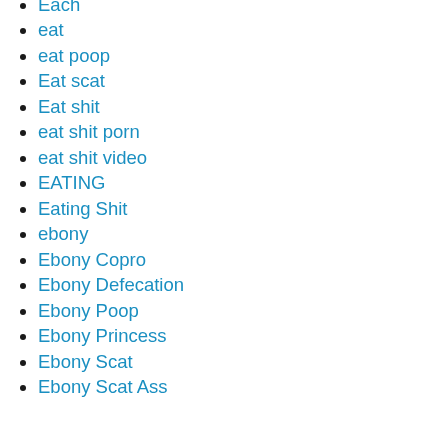Each
eat
eat poop
Eat scat
Eat shit
eat shit porn
eat shit video
EATING
Eating Shit
ebony
Ebony Copro
Ebony Defecation
Ebony Poop
Ebony Princess
Ebony Scat
Ebony Scat Ass